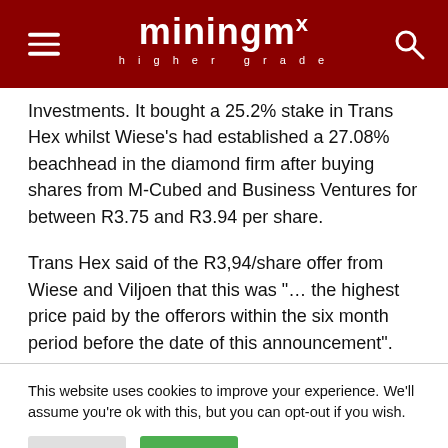miningmx higher grade
Investments. It bought a 25.2% stake in Trans Hex whilst Wiese's had established a 27.08% beachhead in the diamond firm after buying shares from M-Cubed and Business Ventures for between R3.75 and R3.94 per share.
Trans Hex said of the R3,94/share offer from Wiese and Viljoen that this was "… the highest price paid by the offerors within the six month period before the date of this announcement".
This website uses cookies to improve your experience. We'll assume you're ok with this, but you can opt-out if you wish.